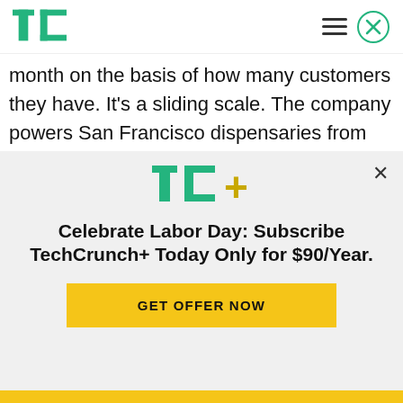TechCrunch
month on the basis of how many customers they have. It's a sliding scale. The company powers San Francisco dispensaries from The Apothecarium, BASA and SPARC.
That stream of revenue comes in addition to the roughly 10 percent cut the company takes out of any direct-to-consumer sales the website or mobile
[Figure (logo): TechCrunch+ logo with TC in green and + in yellow/green]
Celebrate Labor Day: Subscribe TechCrunch+ Today Only for $90/Year.
GET OFFER NOW